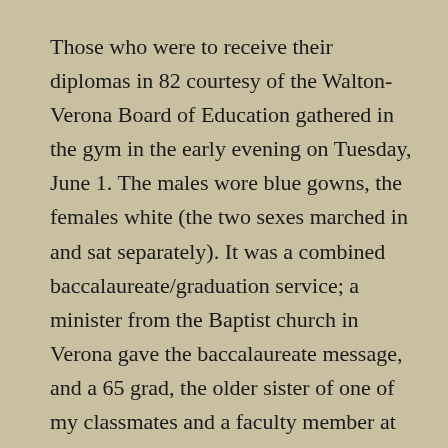Those who were to receive their diplomas in 82 courtesy of the Walton-Verona Board of Education gathered in the gym in the early evening on Tuesday, June 1. The males wore blue gowns, the females white (the two sexes marched in and sat separately). It was a combined baccalaureate/graduation service; a minister from the Baptist church in Verona gave the baccalaureate message, and a 65 grad, the older sister of one of my classmates and a faculty member at UK, was the graduation speaker. Not to brag or anything, but the principal described us that night as the “class that comes closest to that ideal of the perfect class as any class in recent memory.” Seriously, it was a pretty good group of